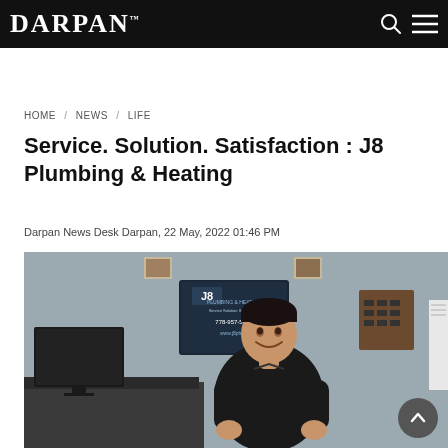DARPAN
HOME / NEWS / LIFE
Service. Solution. Satisfaction : J8 Plumbing & Heating
Darpan News Desk Darpan, 22 May, 2022 01:46 PM
[Figure (photo): Man in black polo shirt sitting at a desk in an office with J8 Plumbing & Heating signage on the wall behind him showing phone number 778-957-5874 and website www.j8ph.ca]